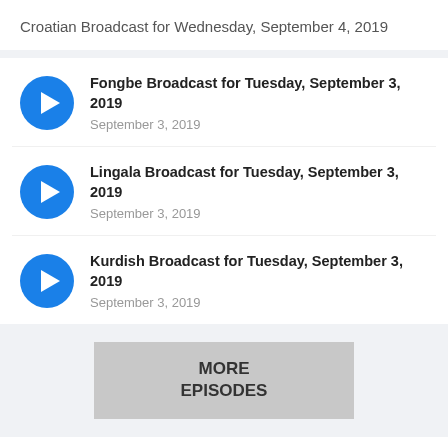Croatian Broadcast for Wednesday, September 4, 2019
Fongbe Broadcast for Tuesday, September 3, 2019
September 3, 2019
Lingala Broadcast for Tuesday, September 3, 2019
September 3, 2019
Kurdish Broadcast for Tuesday, September 3, 2019
September 3, 2019
MORE EPISODES